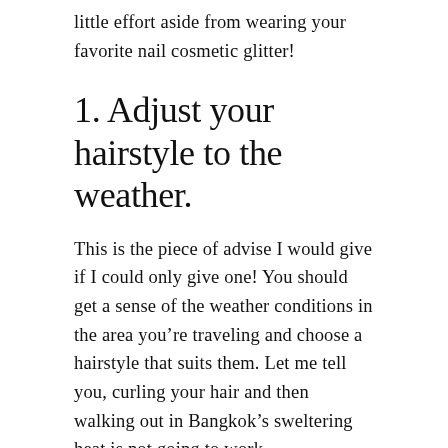little effort aside from wearing your favorite nail cosmetic glitter!
1. Adjust your hairstyle to the weather.
This is the piece of advise I would give if I could only give one! You should get a sense of the weather conditions in the area you’re traveling and choose a hairstyle that suits them. Let me tell you, curling your hair and then walking out in Bangkok’s sweltering heat is not going to work.
When visiting humid nations like Singapore, Thailand, and Indonesia, you should slick your hair back as soon as possible. Slick ponytails, braids, buns, and braid/bun/pony combos are my go-to hairstyles.